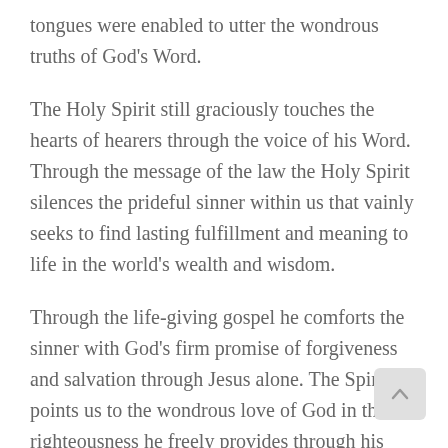tongues were enabled to utter the wondrous truths of God's Word.
The Holy Spirit still graciously touches the hearts of hearers through the voice of his Word. Through the message of the law the Holy Spirit silences the prideful sinner within us that vainly seeks to find lasting fulfillment and meaning to life in the world's wealth and wisdom.
Through the life-giving gospel he comforts the sinner with God's firm promise of forgiveness and salvation through Jesus alone. The Spirit points us to the wondrous love of God in the righteousness he freely provides through his Son. The Spirit draws us to